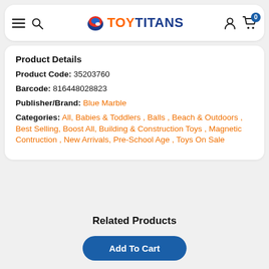TOY TITANS
Product Details
Product Code: 35203760
Barcode: 816448028823
Publisher/Brand: Blue Marble
Categories: All, Babies & Toddlers , Balls , Beach & Outdoors , Best Selling, Boost All, Building & Construction Toys , Magnetic Contruction , New Arrivals, Pre-School Age , Toys On Sale
Related Products
Add To Cart